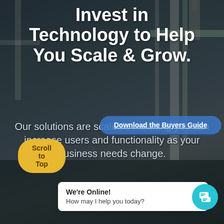[Figure (photo): Industrial facility background with two workers wearing hard hats and safety gear in the foreground. Dark moody sky with industrial pipes and structures visible.]
Invest in Technology to Help You Scale & Grow.
Our solutions are scalable meaning you can increase users and functionality as your business needs change.
Download the Buyers Guide
Scroll to Top
We're Online! How may I help you today?